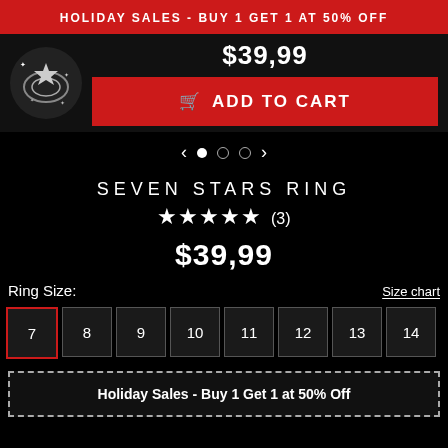HOLIDAY SALES - BUY 1 GET 1 AT 50% OFF
$39,99
ADD TO CART
SEVEN STARS RING
★★★★★ (3)
$39,99
Ring Size:   Size chart
7  8  9  10  11  12  13  14
Holiday Sales - Buy 1 Get 1 at 50% Off